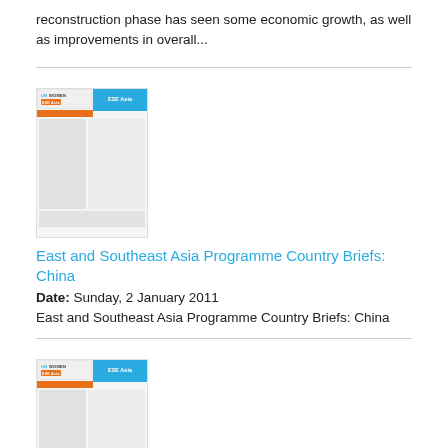reconstruction phase has seen some economic growth, as well as improvements in overall...
[Figure (screenshot): Thumbnail of UN Women ESE Asia Programme Country Briefs document - China]
East and Southeast Asia Programme Country Briefs: China
Date: Sunday, 2 January 2011
East and Southeast Asia Programme Country Briefs: China
[Figure (screenshot): Thumbnail of UN Women ESE Asia Programme Country Briefs document - second entry]